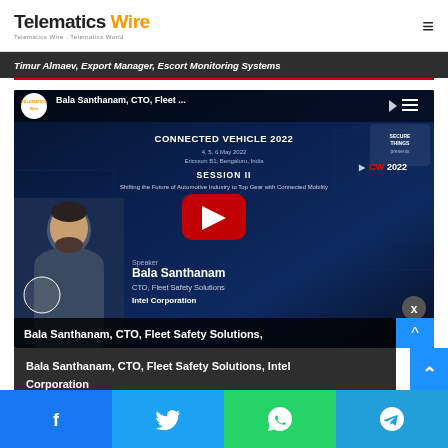Telematics Wire
Timur Almaev, Export Manager, Escort Monitoring Systems
[Figure (screenshot): YouTube video thumbnail for Bala Santhanam, CTO, Fleet Safety Solutions, Intel Corporation, presented at Connected Vehicle 2022 event, Session II: Shifting the Future of Automotive Industry to Top Gear with Connected Mobility]
Bala Santhanam, CTO, Fleet Safety Solutions, Intel Corporation